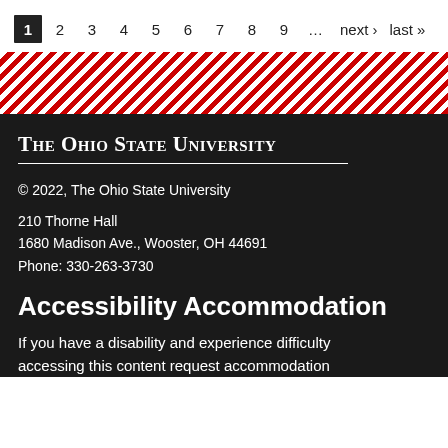1 2 3 4 5 6 7 8 9 … next › last »
[Figure (other): Diagonal red and white stripe decorative band]
The Ohio State University
© 2022, The Ohio State University
210 Thorne Hall
1680 Madison Ave., Wooster, OH 44691
Phone: 330-263-3730
Accessibility Accommodation
If you have a disability and experience difficulty accessing this content request accommodation